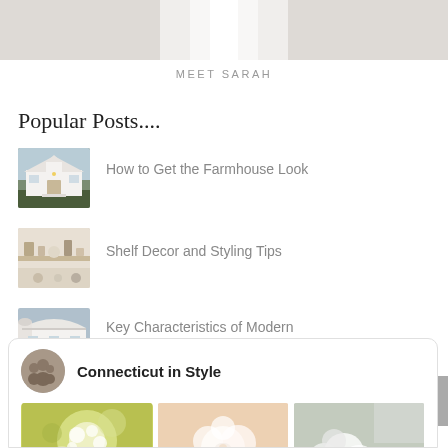[Figure (photo): Top cropped photo of person in white clothing against light background]
MEET SARAH
Popular Posts....
[Figure (photo): Thumbnail of a white farmhouse exterior]
How to Get the Farmhouse Look
[Figure (photo): Thumbnail of shelf decor]
Shelf Decor and Styling Tips
[Figure (photo): Thumbnail of modern farmhouse exterior]
Key Characteristics of Modern Farmhouse Homes
[Figure (screenshot): Social/Pinterest card for Connecticut in Style showing profile avatar and three flower photos at bottom]